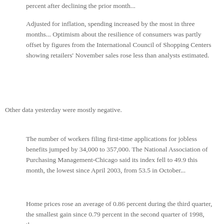percent after declining the prior month...
Adjusted for inflation, spending increased by the most in three months... Optimism about the resilience of consumers was partly offset by figures from the International Council of Shopping Centers showing retailers' November sales rose less than analysts estimated.
Other data yesterday were mostly negative.
The number of workers filing first-time applications for jobless benefits jumped by 34,000 to 357,000. The National Association of Purchasing Management-Chicago said its index fell to 49.9 this month, the lowest since April 2003, from 53.5 in October...
Home prices rose an average of 0.86 percent during the third quarter, the smallest gain since 0.79 percent in the second quarter of 1998, the